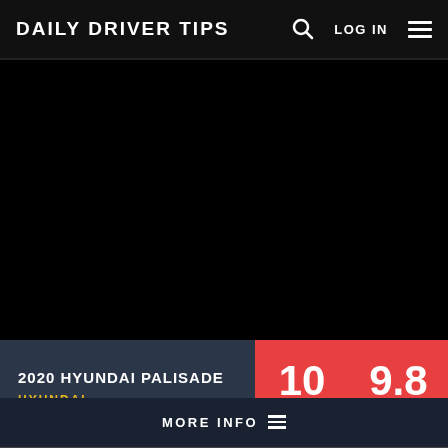DAILY DRIVER TIPS
[Figure (photo): Dark/black background image area for 2020 Hyundai Palisade]
2020 HYUNDAI PALISADE
HYUNDAI
10 PERFECT
9.8 USER AVG
MORE INFO